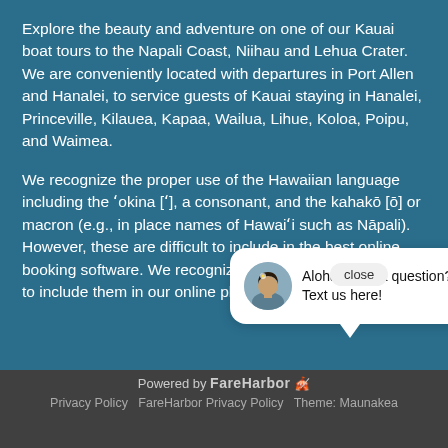Explore the beauty and adventure on one of our Kauai boat tours to the Napali Coast, Niihau and Lehua Crater. We are conveniently located with departures in Port Allen and Hanalei, to service guests of Kauai staying in Hanalei, Princeville, Kilauea, Kapaa, Wailua, Lihue, Koloa, Poipu, and Waimea.
We recognize the proper use of the Hawaiian language including the ʻokina [ʻ], a consonant, and the kahakō [ō] or macron (e.g., in place names of Hawaiʻi such as Nāpali). However, these are difficult to include in the best online booking software. We recognize their importance and plan to include them in our online platform.
[Figure (screenshot): Chat widget popup showing an avatar of a woman and the text 'Aloha, have a question? Text us here!' with a close button]
Powered by FareHarbor [icon] Privacy Policy FareHarbor Privacy Policy Theme: Maunakea